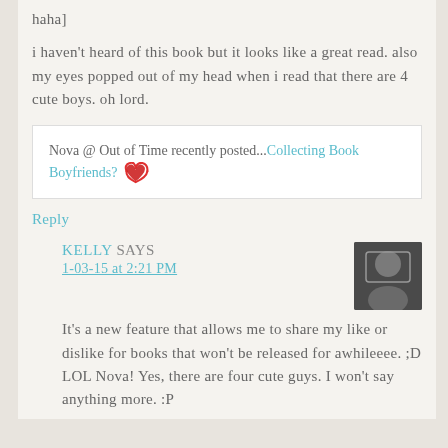haha]
i haven't heard of this book but it looks like a great read. also my eyes popped out of my head when i read that there are 4 cute boys. oh lord.
Nova @ Out of Time recently posted...Collecting Book Boyfriends?
Reply
KELLY SAYS
1-03-15 at 2:21 PM
It's a new feature that allows me to share my like or dislike for books that won't be released for awhileeee. ;D
LOL Nova! Yes, there are four cute guys. I won't say anything more. :P